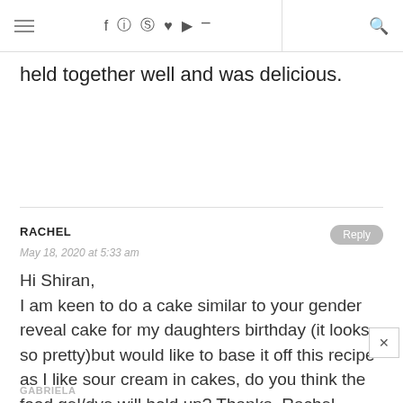Navigation bar with hamburger menu, social icons (f, instagram, pinterest, heart, youtube, rss), and search icon
held together well and was delicious.
RACHEL
May 18, 2020 at 5:33 am
Hi Shiran,
I am keen to do a cake similar to your gender reveal cake for my daughters birthday (it looks so pretty)but would like to base it off this recipe as I like sour cream in cakes, do you think the food gel/dye will hold up? Thanks, Rachel
GABRIELA